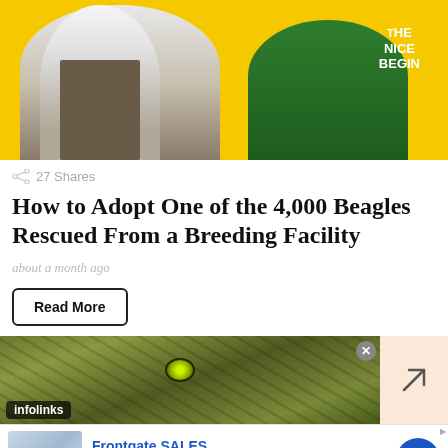[Figure (photo): Yellow background with two people hugging, one in a white shirt and one in a green shirt reading 'THE NICE BEGIN']
27 Shares
How to Adopt One of the 4,000 Beagles Rescued From a Breeding Facility
about a month ago
Read More
[Figure (photo): Infolinks advertisement banner showing a close-up of a reptile/lizard with green eye on a pink/magenta background, with an arrow icon on the right]
[Figure (photo): Frontgate SALES advertisement: Up to 30% off sitewide from August 23-25, www.frontgate.com, with bedroom image thumbnail and blue arrow button]